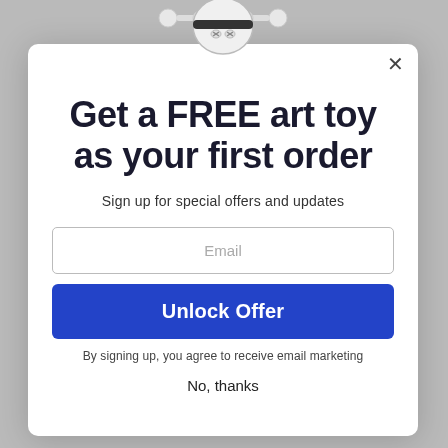[Figure (illustration): 3D art toy figure (cartoon robot/character with white round head and bones/antennae) peeking from top of modal popup]
Get a FREE art toy as your first order
Sign up for special offers and updates
Email
Unlock Offer
By signing up, you agree to receive email marketing
No, thanks